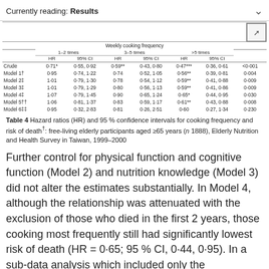Currently reading: Results
|  | HR 1–2 times | 95% CI 1–2 times | HR 3–5 times | 95% CI 3–5 times | HR >5 times | 95% CI >5 times | p |
| --- | --- | --- | --- | --- | --- | --- | --- |
| Crude | 0·71* | 0·55, 0·92 | 0·59** | 0·43, 0·80 | 0·47*** | 0·36, 0·61 | <0·001 |
| Model 1† | 0·95 | 0·74, 1·22 | 0·74 | 0·52, 1·05 | 0·56** | 0·39, 0·81 | 0·004 |
| Model 2‡ | 1·01 | 0·79, 1·30 | 0·78 | 0·54, 1·12 | 0·59** | 0·41, 0·88 | 0·009 |
| Model 3‡ | 1·01 | 0·79, 1·29 | 0·80 | 0·56, 1·13 | 0·59** | 0·41, 0·86 | 0·009 |
| Model 4‡ | 1·07 | 0·79, 1·45 | 0·90 | 0·65, 1·24 | 0·65* | 0·44, 0·95 | 0·030 |
| Model 5†† | 1·06 | 0·81, 1·37 | 0·83 | 0·59, 1·17 | 0·61** | 0·43, 0·88 | 0·008 |
| Model 6‡‡ | 0·95 | 0·32, 2·83 | 0·81 | 0·26, 2·51 | 0·60 | 0·27, 1·34 | 0·230 |
Table 4 Hazard ratios (HR) and 95 % confidence intervals for cooking frequency and risk of death†: free-living elderly participants aged ≥65 years (n 1888), Elderly Nutrition and Health Survey in Taiwan, 1999–2000
Further control for physical function and cognitive function (Model 2) and nutrition knowledge (Model 3) did not alter the estimates substantially. In Model 4, although the relationship was attenuated with the exclusion of those who died in the first 2 years, those cooking most frequently still had significantly lowest risk of death (HR = 0·65; 95 % CI, 0·44, 0·95). In a sub-data analysis which included only the participants